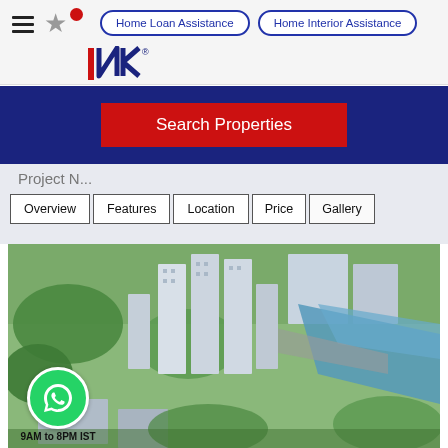Home Loan Assistance | Home Interior Assistance
[Figure (logo): NK real estate logo with red vertical bar and dark blue letters NK with registered trademark symbol]
Search Properties
Overview | Features | Location | Price | Gallery
[Figure (photo): Aerial view of tall residential apartment towers surrounded by green trees and a blue canal/river running alongside a road]
9AM to 8PM IST